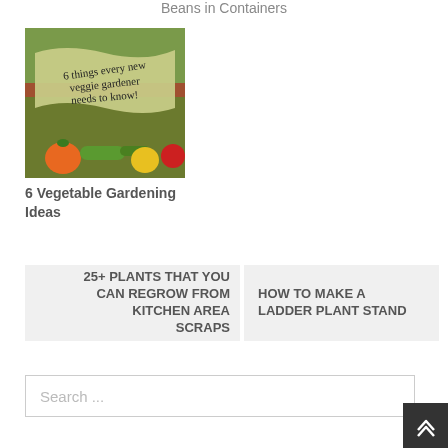Beans in Containers
[Figure (photo): Book or card cover image showing a vegetable garden with text '6 things every new veggie gardener needs to know!' on a banner, with vegetables at the bottom]
6 Vegetable Gardening Ideas
25+ PLANTS THAT YOU CAN REGROW FROM KITCHEN AREA SCRAPS
HOW TO MAKE A LADDER PLANT STAND
Search ...